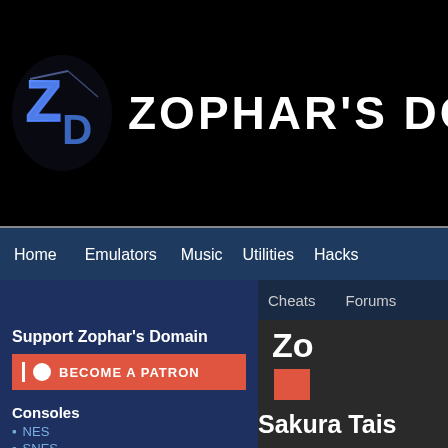[Figure (screenshot): Zophar's Domain website header with logo and navigation. Shows logo (stylized ZD letters in blue), site title 'ZOPHAR'S DOMA[IN]', navigation bar with Home, Emulators, Music, Utilities, Hacks links, secondary nav with Cheats, Forums. Left sidebar with 'Support Zophar's Domain', 'BECOME A PATRON' button, Search section with input and button, Consoles section listing NES and SNES. Right content area showing partial 'Zo[phar's Domain]' text, patron button, and 'Sakura Tais[sen]' text.]